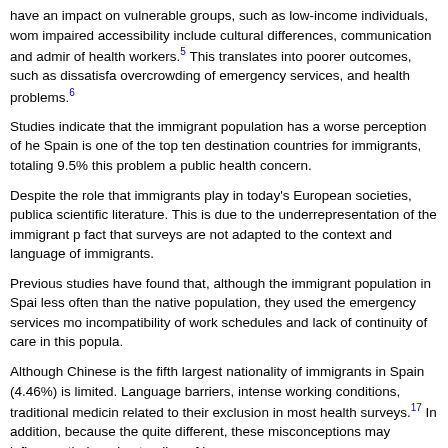have an impact on vulnerable groups, such as low-income individuals, wom impaired accessibility include cultural differences, communication and admir of health workers.5 This translates into poorer outcomes, such as dissatisfa overcrowding of emergency services, and health problems.6
Studies indicate that the immigrant population has a worse perception of he Spain is one of the top ten destination countries for immigrants, totaling 9.5 this problem a public health concern.
Despite the role that immigrants play in today's European societies, publica scientific literature. This is due to the underrepresentation of the immigrant p fact that surveys are not adapted to the context and language of immigrants
Previous studies have found that, although the immigrant population in Spai less often than the native population, they used the emergency services mo incompatibility of work schedules and lack of continuity of care in this popula
Although Chinese is the fifth largest nationality of immigrants in Spain (4.46 is limited. Language barriers, intense working conditions, traditional medicin related to their exclusion in most health surveys.17 In addition, because the quite different, these misconceptions may influence their understanding of h
Therefore, the purpose of this study is to describe the use of health services factors of this population when accessing the health system.
METHOD